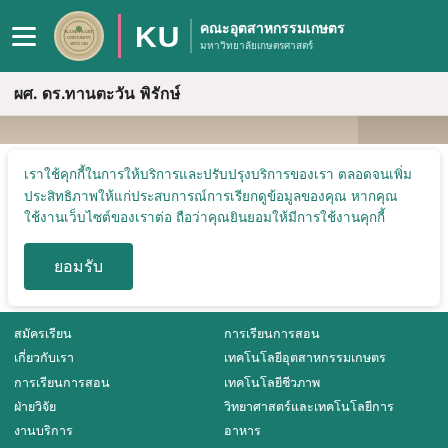KU คณะอุตสาหกรรมเกษตร มหาวิทยาลัยเกษตรศาสตร์
ผศ. ดร.ทานตะวัน พิรักษ์
เราใช้คุกกี้ในการให้บริการและปรับปรุงบริการของเรา ตลอดจนเพิ่มประสิทธิภาพให้แก่ประสบการณ์การเรียกดูข้อมูลของคุณ หากคุณใช้งานเว็บไซต์ของเราต่อ ถือว่าคุณยินยอมให้มีการใช้งานคุกกี้
ยอมรับ
สมัครเรียน
เกี่ยวกับเรา
การเรียนการสอน
ฝ่ายวิจัย
งานบริการ
ข่าวสาร
การเรียนการสอน
เทคโนโลยีอุตสาหกรรมเกษตร
เทคโนโลยีชีวภาพ
วิทยาศาสตร์และเทคโนโลยีการ
อาหาร
เทคโนโลยีการบรรจุและวัสดุ